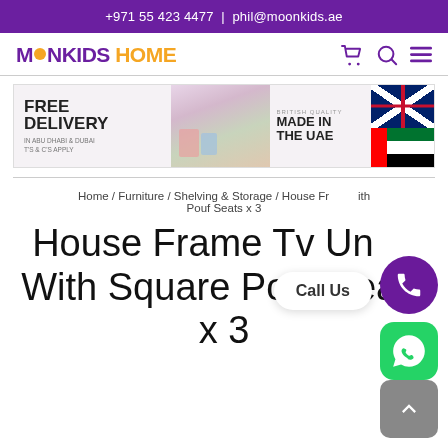+971 55 423 4477 | phil@moonkids.ae
[Figure (logo): MoonKids Home logo with yellow dot and orange HOME text]
[Figure (infographic): Banner advertising Free Delivery in Abu Dhabi & Dubai and British Quality Made in the UAE with UK and UAE flags]
Home / Furniture / Shelving & Storage / House Fr... ith Pouf Seats x 3
House Frame Tv Unit With Square Pouf Seats x 3